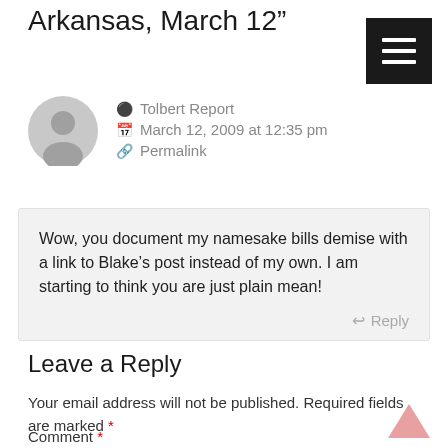Arkansas, March 12”
Tolbert Report
March 12, 2009 at 12:35 pm
Permalink
Wow, you document my namesake bills demise with a link to Blake’s post instead of my own. I am starting to think you are just plain mean!
Leave a Reply
Your email address will not be published. Required fields are marked *
Comment *